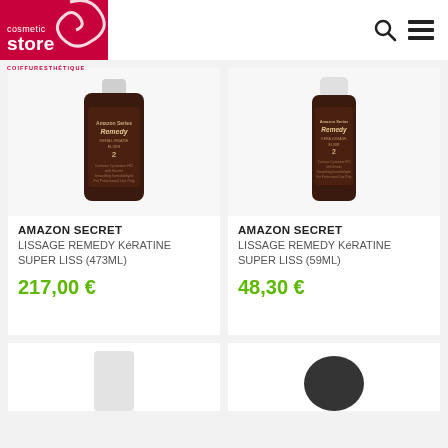[Figure (logo): Cosmetic Store COIFFURESTHÉTIQUE logo — white text on pink/red background with decorative swirl]
[Figure (photo): Two dark brown product bottles: Amazon Secret Lissage Remedy Kératine Super Liss 473ml (left) and 59ml (right)]
AMAZON SECRET
LISSAGE REMEDY KéRATINE SUPER LISS (473ML)
217,00 €
AMAZON SECRET
LISSAGE REMEDY KéRATINE SUPER LISS (59ML)
48,30 €